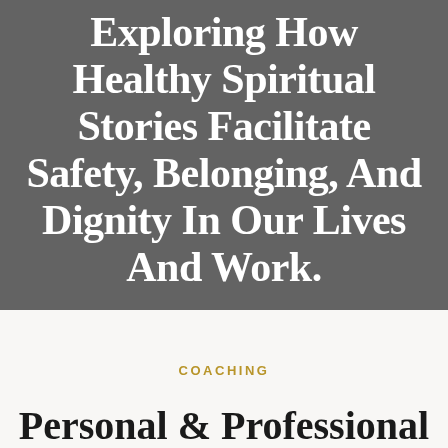Exploring How Healthy Spiritual Stories Facilitate Safety, Belonging, And Dignity In Our Lives And Work.
COACHING
Personal & Professional